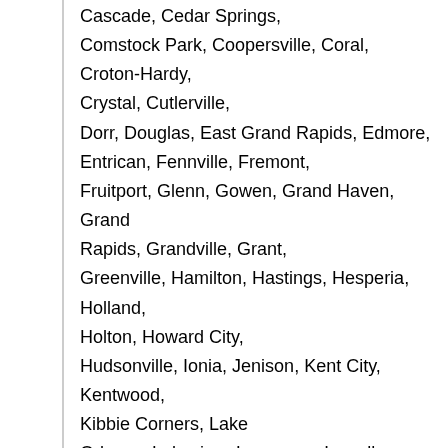Cascade, Cedar Springs, Comstock Park, Coopersville, Coral, Croton-Hardy, Crystal, Cutlerville, Dorr, Douglas, East Grand Rapids, Edmore, Entrican, Fennville, Fremont, Fruitport, Glenn, Gowen, Grand Haven, Grand Rapids, Grandville, Grant, Greenville, Hamilton, Hastings, Hesperia, Holland, Holton, Howard City, Hudsonville, Ionia, Jenison, Kent City, Kentwood, Kibbie Corners, Lake Odessa, Lakeview, Lawrence, Lowell, Middleville, Muir, Muskegon, Newaygo, Parnell, Pullman, Ravenna, Remus, Rockford, Rothbury, Ruby Creek, Sand Lake, Saranac, Saugatuck, Sheridan, Sidney, Six Lakes, South Haven, Sparta, Spring Lake, Stanton, Trufant, Twin Lakes